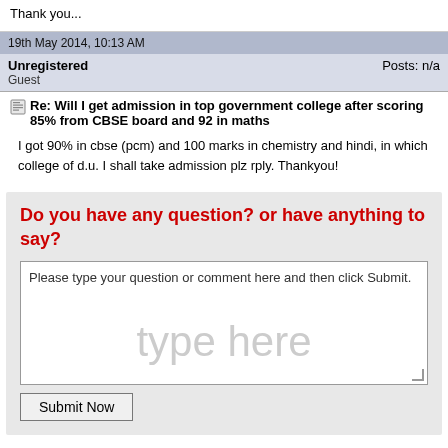Thank you...
19th May 2014, 10:13 AM
Unregistered
Guest
Posts: n/a
Re: Will I get admission in top government college after scoring 85% from CBSE board and 92 in maths
I got 90% in cbse (pcm) and 100 marks in chemistry and hindi, in which college of d.u. I shall take admission plz rply. Thankyou!
Do you have any question? or have anything to say?
Please type your question or comment here and then click Submit.
Submit Now